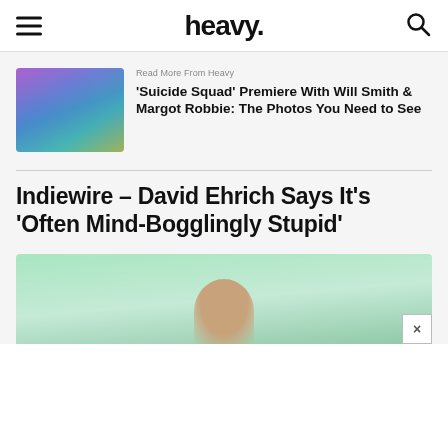heavy.
Read More From Heavy
'Suicide Squad' Premiere With Will Smith & Margot Robbie: The Photos You Need to See
Indiewire – David Ehrich Says It's 'Often Mind-Bogglingly Stupid'
[Figure (photo): Blurred article thumbnail image at bottom of page]